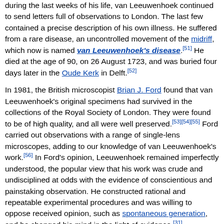during the last weeks of his life, van Leeuwenhoek continued to send letters full of observations to London. The last few contained a precise description of his own illness. He suffered from a rare disease, an uncontrolled movement of the midriff, which now is named van Leeuwenhoek's disease.[51] He died at the age of 90, on 26 August 1723, and was buried four days later in the Oude Kerk in Delft.[52]
In 1981, the British microscopist Brian J. Ford found that van Leeuwenhoek's original specimens had survived in the collections of the Royal Society of London. They were found to be of high quality, and all were well preserved.[53][54][55] Ford carried out observations with a range of single-lens microscopes, adding to our knowledge of van Leeuwenhoek's work.[56] In Ford's opinion, Leeuwenhoek remained imperfectly understood, the popular view that his work was crude and undisciplined at odds with the evidence of conscientious and painstaking observation. He constructed rational and repeatable experimental procedures and was willing to oppose received opinion, such as spontaneous generation, and he changed his mind in the light of evidence.[31]
On his importance in the history of microbiology and science in general, the British biochemist Nick Lane wrote that he was "the first even to think of looking—certainly, the first with the power to see." His experiments were ingenious and he was "a scientist of the